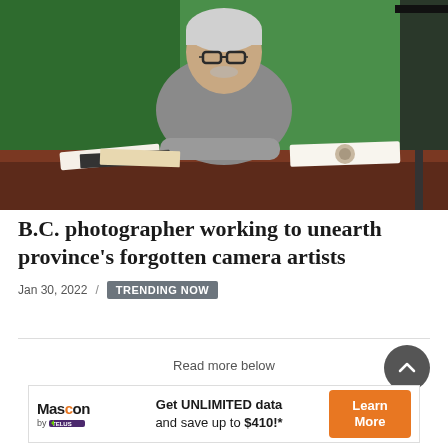[Figure (photo): Older man with white hair and glasses, arms crossed on a desk covered with old photographs and documents, green screen background with photography lighting equipment]
B.C. photographer working to unearth province’s forgotten camera artists
Jan 30, 2022 / TRENDING NOW
Read more below
[Figure (other): Advertisement for Mascon by TELUS: Get UNLIMITED data and save up to $410!* Learn More]